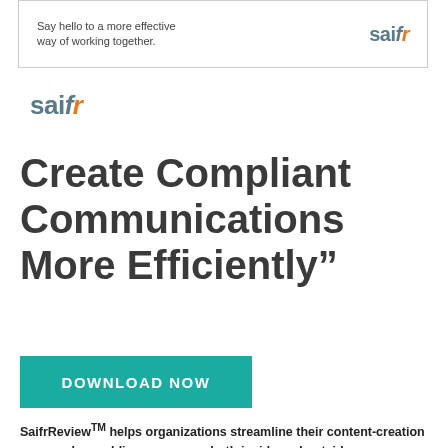[Figure (logo): Saifr logo in banner with text 'Say hello to a more effective way of working together.']
[Figure (logo): Saifr logo standalone]
Create Compliant Communications More Efficiently"
[Figure (other): DOWNLOAD NOW button in teal color]
SaifrReview™ helps organizations streamline their content-creation process by enabling everyone - both inside and outside your organization - to collaborate